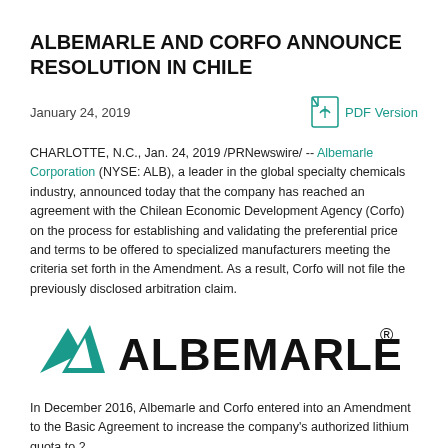ALBEMARLE AND CORFO ANNOUNCE RESOLUTION IN CHILE
January 24, 2019
PDF Version
CHARLOTTE, N.C., Jan. 24, 2019 /PRNewswire/ -- Albemarle Corporation (NYSE: ALB), a leader in the global specialty chemicals industry, announced today that the company has reached an agreement with the Chilean Economic Development Agency (Corfo) on the process for establishing and validating the preferential price and terms to be offered to specialized manufacturers meeting the criteria set forth in the Amendment. As a result, Corfo will not file the previously disclosed arbitration claim.
[Figure (logo): Albemarle logo with teal mountain/triangle symbol and ALBEMARLE wordmark with registered trademark symbol]
In December 2016, Albemarle and Corfo entered into an Amendment to the Basic Agreement to increase the company's authorized lithium quota to 2